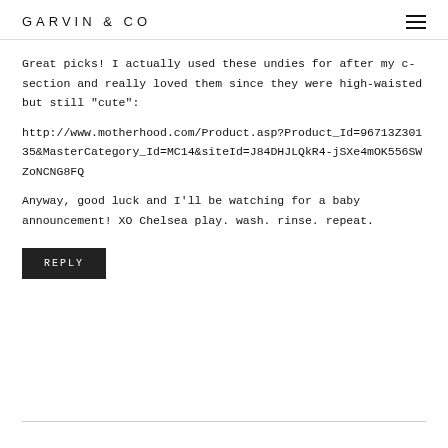GARVIN & CO
Great picks! I actually used these undies for after my c-section and really loved them since they were high-waisted but still "cute":
http://www.motherhood.com/Product.asp?Product_Id=96713Z30135&MasterCategory_Id=MC14&siteId=J84DHJLQkR4-jSXe4mOK556SWZoNCNG8FQ
Anyway, good luck and I'll be watching for a baby announcement! XO Chelsea play. wash. rinse. repeat.
REPLY